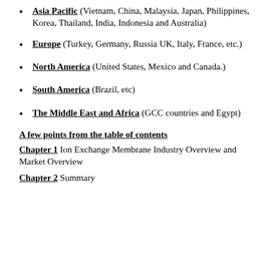Asia Pacific (Vietnam, China, Malaysia, Japan, Philippines, Korea, Thailand, India, Indonesia and Australia)
Europe (Turkey, Germany, Russia UK, Italy, France, etc.)
North America (United States, Mexico and Canada.)
South America (Brazil, etc)
The Middle East and Africa (GCC countries and Egypt)
A few points from the table of contents
Chapter 1 Ion Exchange Membrane Industry Overview and Market Overview
Chapter 2 Summary